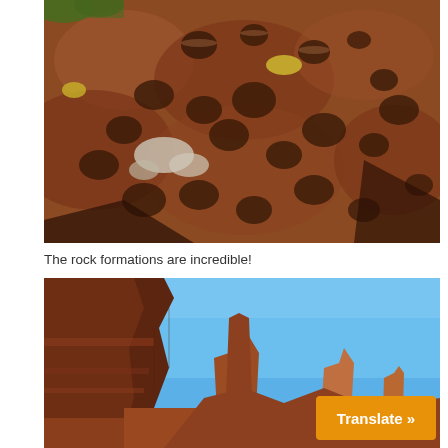[Figure (photo): Close-up photograph of reddish-brown sandstone rock surface with many rounded pits and hollows (tafoni weathering), with patches of white and yellow lichen. A shadow of a person is visible at the bottom right. Some green vegetation visible at top left.]
The rock formations are incredible!
[Figure (photo): Photograph of tall red sandstone canyon walls and rock formations against a bright blue sky. Distinctive rock pillars and layered cliff faces are visible. A Translate button overlay appears in the bottom right corner.]